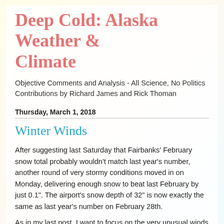Deep Cold: Alaska Weather & Climate
Objective Comments and Analysis - All Science, No Politics
Contributions by Richard James and Rick Thoman
Thursday, March 1, 2018
Winter Winds
After suggesting last Saturday that Fairbanks' February snow total probably wouldn't match last year's number, another round of very stormy conditions moved in on Monday, delivering enough snow to beat last February by just 0.1". The airport's snow depth of 32" is now exactly the same as last year's number on February 28th.
As in my last post, I want to focus on the very unusual winds